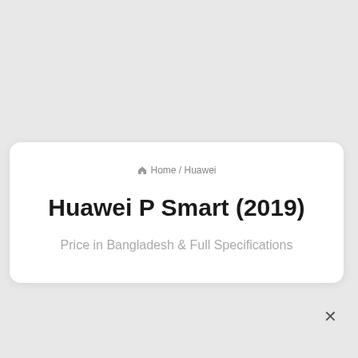Home / Huawei
Huawei P Smart (2019)
Price in Bangladesh & Full Specifications